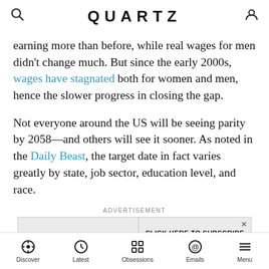QUARTZ
earning more than before, while real wages for men didn't change much. But since the early 2000s, wages have stagnated both for women and men, hence the slower progress in closing the gap.
Not everyone around the US will be seeing parity by 2058—and others will see it sooner. As noted in the Daily Beast, the target date in fact varies greatly by state, job sector, education level, and race.
ADVERTISEMENT
[Figure (other): Advertisement banner for Gizmodo: 'CLICK HERE TO SUBSCRIBE TO OUR NEWSLETTER!']
In five states, women will be waiting until the next
Discover | Latest | Obsessions | Emails | Menu